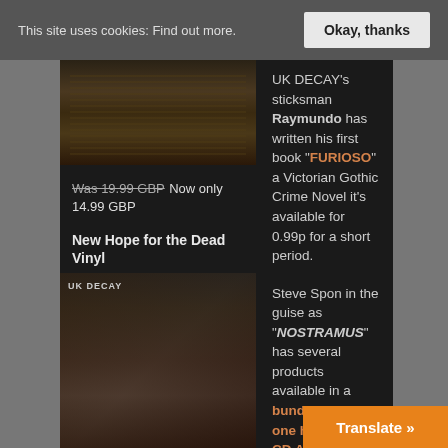This site uses cookies: Find out more. Okay, thanks
[Figure (photo): Dark brownish album or book cover image with horizontal striped texture]
Was 19.99 GBP Now only 14.99 GBP
New Hope for the Dead Vinyl
UK DECAY's sticksman Raymundo has written his first book "FURIOSO" a Victorian Gothic Crime Novel it's available for 0.99p for a short period.
[Figure (photo): UK Decay album cover — black and white photo of person with gothic styling]
Steve Spon in the guise as "NOSTRAMUS" has several products available in a bundle of three one hour long CD Albums for just £16.49 including free shipping. Spon has produced four albums for artist writer ELLA JO of which four are bundled together for just free shipping.